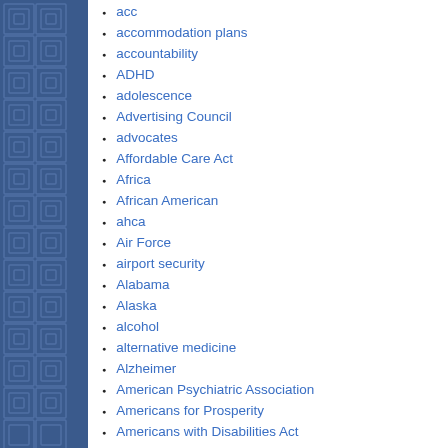acc
accommodation plans
accountability
ADHD
adolescence
Advertising Council
advocates
Affordable Care Act
Africa
African American
ahca
Air Force
airport security
Alabama
Alaska
alcohol
alternative medicine
Alzheimer
American Psychiatric Association
Americans for Prosperity
Americans with Disabilities Act
Andrew Yang